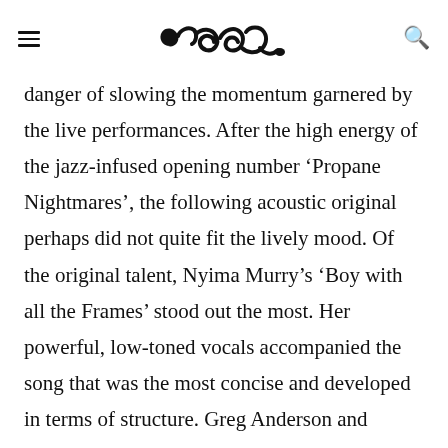[logo] [hamburger menu] [search icon]
danger of slowing the momentum garnered by the live performances. After the high energy of the jazz-infused opening number ‘Propane Nightmares’, the following acoustic original perhaps did not quite fit the lively mood. Of the original talent, Nyima Murry’s ‘Boy with all the Frames’ stood out the most. Her powerful, low-toned vocals accompanied the song that was the most concise and developed in terms of structure. Greg Anderson and Artemis